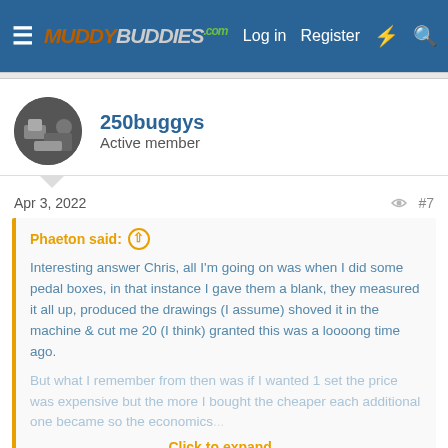MuddyBuddies.com — Log in | Register
250buggys
Active member
Apr 3, 2022   #7
Phaeton said:
Interesting answer Chris, all I'm going on was when I did some pedal boxes, in that instance I gave them a blank, they measured it all up, produced the drawings (I assume) shoved it in the machine & cut me 20 (I think) granted this was a loooong time ago.
But what I remember from then was if I wanted 1 set the price was expensive but the more I bought the cheaper each additional one became so the economics...
Click to expand...
Hi Alan you gave 105mm height but not width I went with 140mm wide, hope this is OK? let me know f not and we can re-jig it. It should give you enough to give you room for a head of